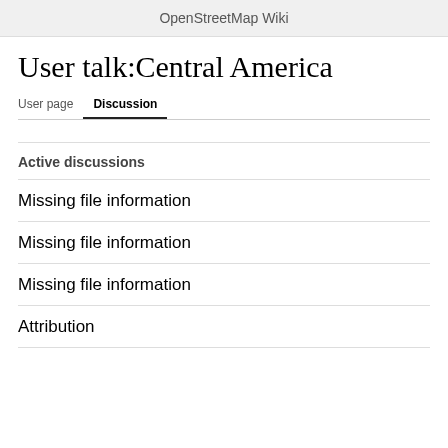OpenStreetMap Wiki
User talk:Central America
User page   Discussion
Active discussions
Missing file information
Missing file information
Missing file information
Attribution